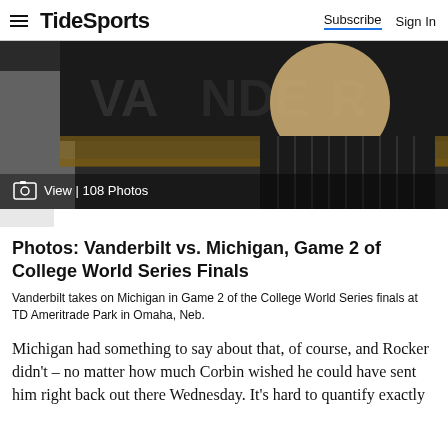TideSports | Subscribe | Sign In
[Figure (photo): A Vanderbilt baseball player in a black pinstripe uniform smiling, photographed from the side at TD Ameritrade Park. Text overlay: View | 108 Photos]
Photos: Vanderbilt vs. Michigan, Game 2 of College World Series Finals
Vanderbilt takes on Michigan in Game 2 of the College World Series finals at TD Ameritrade Park in Omaha, Neb.
Michigan had something to say about that, of course, and Rocker didn't – no matter how much Corbin wished he could have sent him right back out there Wednesday. It's hard to quantify exactly